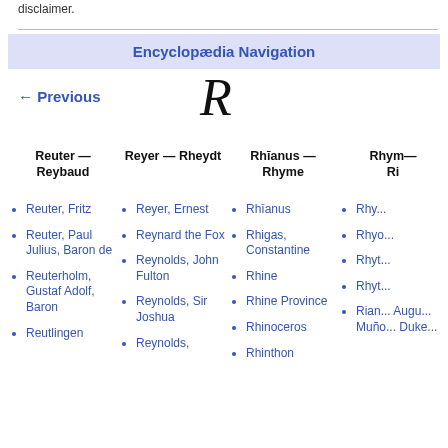disclaimer.
Encyclopædia Navigation
← Previous
R
| Reuter — Reybaud | Reyer — Rheydt | Rhīanus — Rhyme | Rhym— Ri |
| --- | --- | --- | --- |
| Reuter, Fritz | Reyer, Ernest | Rhīanus | Rhy... |
| Reuter, Paul Julius, Baron de | Reynard the Fox | Rhigas, Constantine | Rhyo... |
| Reuterholm, Gustaf Adolf, Baron | Reynolds, John Fulton | Rhine | Rhyt... |
| Reutlingen | Reynolds, Sir Joshua | Rhine Province | Rhyt... |
|  | Reynolds, | Rhinoceros | Rian... Augu... Muño... Duke... |
|  |  | Rhinthon |  |